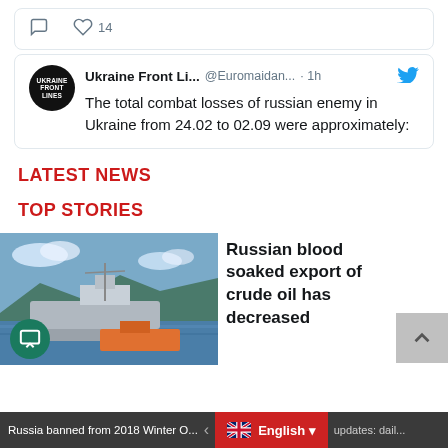[Figure (screenshot): Tweet interaction icons: comment and heart (14 likes)]
[Figure (screenshot): Twitter/X post by Ukraine Front Lines (@Euromaidan...) posted 1h ago. Avatar is black circle with UKRAINE FRONTLINES text. Twitter bird icon visible. Text: The total combat losses of russian enemy in Ukraine from 24.02 to 02.09 were approximately:]
LATEST NEWS
TOP STORIES
[Figure (photo): Tanker/cargo ship on open ocean water with mountains in background, orange vessel nearby]
Russian blood soaked export of crude oil has decreased
Russia banned from 2018 Winter O... | English | updates: dail...